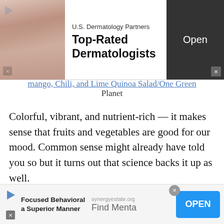[Figure (other): Top advertisement banner for U.S. Dermatology Partners featuring 'Top-Rated Dermatologists' with an Open button]
mango, Chili, and Lime Quinoa Salad/One Green Planet
Colorful, vibrant, and nutrient-rich — it makes sense that fruits and vegetables are good for our mood. Common sense might already have told you so but it turns out that science backs it up as well.
Thanks to their high content in vitamins and minerals, fruits and vegetables have been shown
[Figure (other): Bottom advertisement banner for Focused Behavioral a Superior Manner / synergyestate.org Find Mental - with OPEN button]